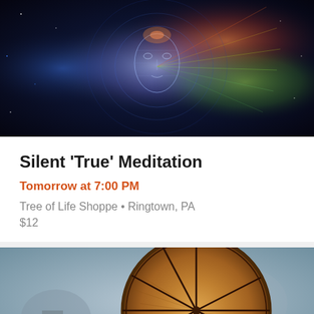[Figure (photo): Digital art illustration of a glowing wireframe human face/head against a dark space background with colorful geometric light patterns and circular rings in blue, orange, yellow and green]
Silent 'True' Meditation
Tomorrow at 7:00 PM
Tree of Life Shoppe • Ringtown, PA
$12
[Figure (photo): Close-up photo of a round shamanic drum or tambourine with wooden frame and spoke-like lacing pattern, with a blurred outdoor background]